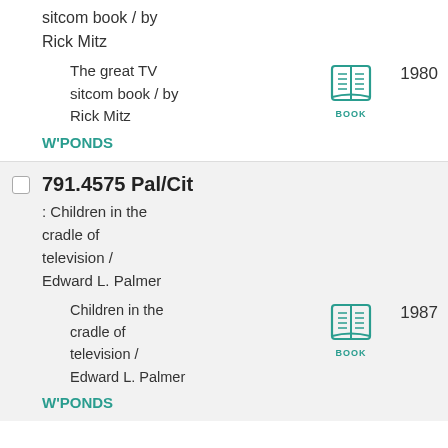sitcom book / by Rick Mitz
The great TV sitcom book / by Rick Mitz
[Figure (illustration): Book icon in teal color with label BOOK below]
1980
W'PONDS
791.4575 Pal/Cit
: Children in the cradle of television / Edward L. Palmer
Children in the cradle of television / Edward L. Palmer
[Figure (illustration): Book icon in teal color with label BOOK below]
1987
W'PONDS